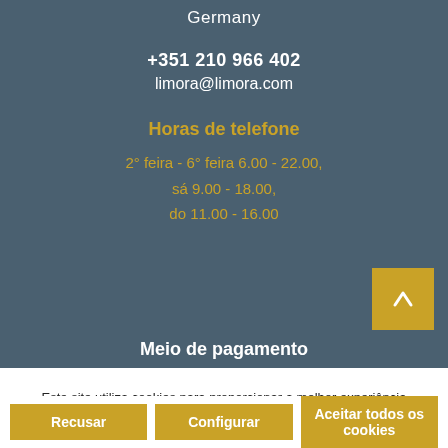Germany
+351 210 966 402
limora@limora.com
Horas de telefone
2° feira - 6° feira 6.00 - 22.00,
sá 9.00 - 18.00,
do 11.00 - 16.00
Meio de pagamento
Este site utiliza cookies para proporcionar a melhor experiência possível. Mais informações...
Recusar
Configurar
Aceitar todos os cookies